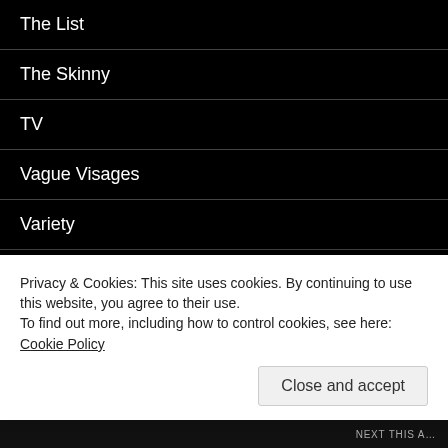The List
The Skinny
TV
Vague Visages
Variety
VODzilla.co
RECENT POSTS
10 great British films of 2002
Privacy & Cookies: This site uses cookies. By continuing to use this website, you agree to their use.
To find out more, including how to control cookies, see here: Cookie Policy
Close and accept